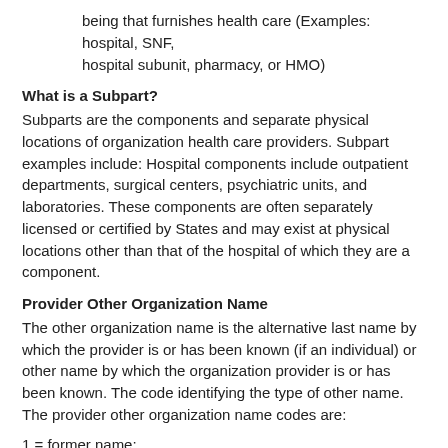being that furnishes health care (Examples: hospital, SNF, hospital subunit, pharmacy, or HMO)
What is a Subpart?
Subparts are the components and separate physical locations of organization health care providers. Subpart examples include: Hospital components include outpatient departments, surgical centers, psychiatric units, and laboratories. These components are often separately licensed or certified by States and may exist at physical locations other than that of the hospital of which they are a component.
Provider Other Organization Name
The other organization name is the alternative last name by which the provider is or has been known (if an individual) or other name by which the organization provider is or has been known. The code identifying the type of other name. The provider other organization name codes are:
1 = former name;
2 = professional name;
3 = doing business as (d/b/ a) name;
4 = former legal business name; :
5 = other.